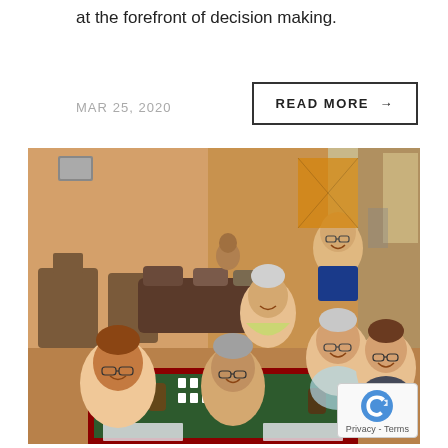at the forefront of decision making.
MAR 25, 2020
READ MORE →
[Figure (photo): Six women smiling at a table playing Mahjong in a casual restaurant setting with warm orange walls, brown furniture, and various items on the table including game tiles and drinks.]